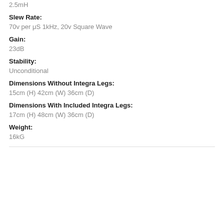2.5mH
Slew Rate:
70v per μS 1kHz, 20v Square Wave
Gain:
23dB
Stability:
Unconditional
Dimensions Without Integra Legs:
15cm (H) 42cm (W) 36cm (D)
Dimensions With Included Integra Legs:
17cm (H) 48cm (W) 36cm (D)
Weight:
16kG